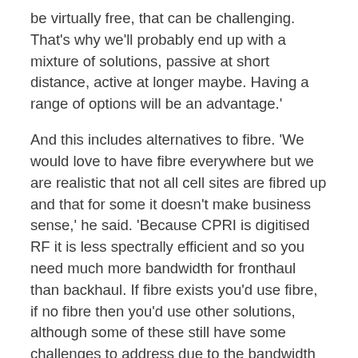be virtually free, that can be challenging. That's why we'll probably end up with a mixture of solutions, passive at short distance, active at longer maybe. Having a range of options will be an advantage.'
And this includes alternatives to fibre. 'We would love to have fibre everywhere but we are realistic that not all cell sites are fibred up and that for some it doesn't make business sense,' he said. 'Because CPRI is digitised RF it is less spectrally efficient and so you need much more bandwidth for fronthaul than backhaul. If fibre exists you'd use fibre, if no fibre then you'd use other solutions, although some of these still have some challenges to address due to the bandwidth requirements and demanding technical requirements.'
Real networks could also be an interesting mixture of approaches too. 'One of the nice things with WDM is you can build a network carrying different types of traffic, including both fronthaul and backhaul, over the same fibre. You could draw a nice, neat diagram for these networks but that's not the reality of networks as